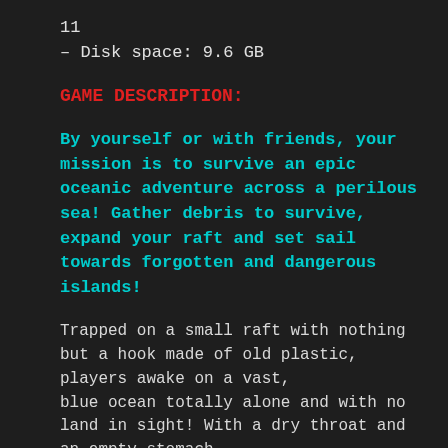11
– Disk space: 9.6 GB
GAME DESCRIPTION:
By yourself or with friends, your mission is to survive an epic oceanic adventure across a perilous sea! Gather debris to survive, expand your raft and set sail towards forgotten and dangerous islands!
Trapped on a small raft with nothing but a hook made of old plastic, players awake on a vast, blue ocean totally alone and with no land in sight! With a dry throat and an empty stomach, survival will not be easy!
Raft throws you and your friends into an epic adventure